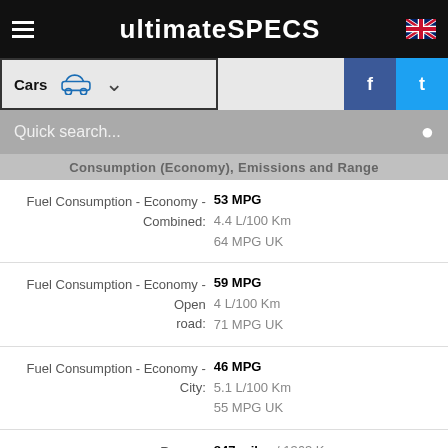ultimateSPECS
Consumption (Economy), Emissions and Range
| Specification | Value |
| --- | --- |
| Fuel Consumption - Economy - Combined: | 53 MPG
4.4 L/100 Km
64 MPG UK |
| Fuel Consumption - Economy - Open road: | 59 MPG
4 L/100 Km
71 MPG UK |
| Fuel Consumption - Economy - City: | 46 MPG
5.1 L/100 Km
55 MPG UK |
| Range : | 847 miles / 1363 Km |
| Fuel Tank Capacity : | 15.9 gallons
60 L
13.2 UK gallons |
| CO2 emissions : | 114 g/Km (Renault) |